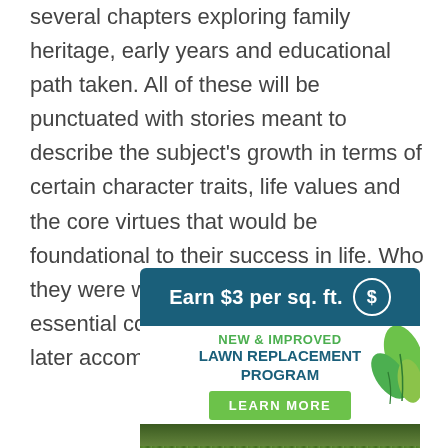several chapters exploring family heritage, early years and educational path taken. All of these will be punctuated with stories meant to describe the subject's growth in terms of certain character traits, life values and the core virtues that would be foundational to their success in life. Who they were was understood to be an essential component of what they would later accomplish.
[Figure (infographic): Advertisement banner: 'Earn $3 per sq. ft.' with dollar sign circle icon on dark teal background. Below: 'NEW & IMPROVED LAWN REPLACEMENT PROGRAM' text with green leaf illustration and 'LEARN MORE' green button. Bottom shows grass/lawn photo.]